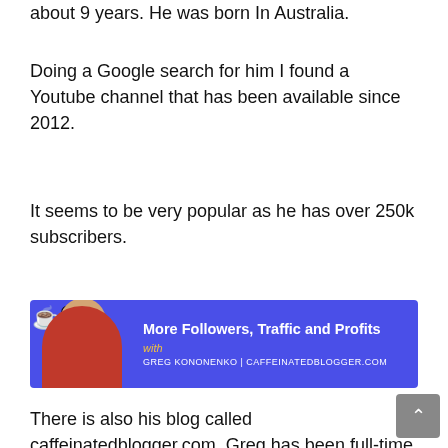about 9 years. He was born In Australia.
Doing a Google search for him I found a Youtube channel that has been available since 2012.
It seems to be very popular as he has over 250k subscribers.
[Figure (illustration): Banner advertisement for Caffeinated Blogger. Blue background with a man wearing headphones and a red shirt, a coffee cup icon, and text reading 'More Followers, Traffic and Profits with GREG KONONENKO | CAFFEINATEDBLOGGER.COM']
There is also his blog called caffeinatedblogger.com. Greg has been full-time online since 2015.